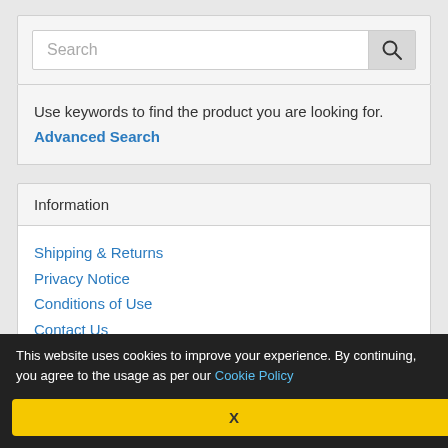[Figure (screenshot): Search input bar with placeholder text 'Search' and a search icon button on the right]
Use keywords to find the product you are looking for.
Advanced Search
Information
Shipping & Returns
Privacy Notice
Conditions of Use
Contact Us
We Accept
This website uses cookies to improve your experience. By continuing, you agree to the usage as per our Cookie Policy
X